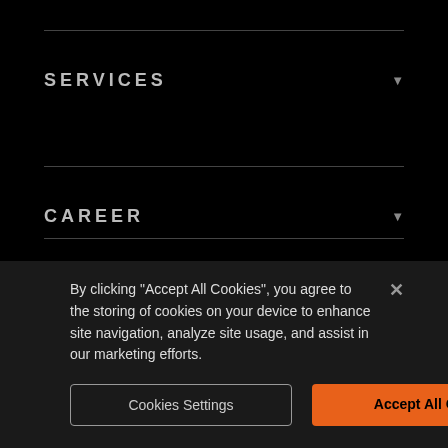SERVICES
CAREER
UPDATES
AGENCIES
By clicking "Accept All Cookies", you agree to the storing of cookies on your device to enhance site navigation, analyze site usage, and assist in our marketing efforts.
Cookies Settings
Accept All Cookies